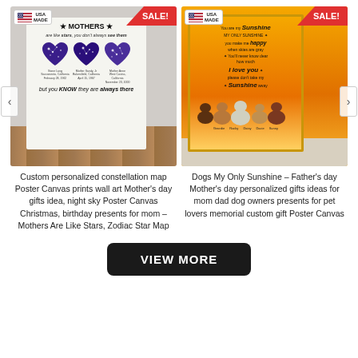[Figure (photo): Product image of a custom personalized constellation map poster canvas with three heart shapes showing star maps, set on a wood floor with a plant, with USA MADE badge and SALE ribbon]
Custom personalized constellation map Poster Canvas prints wall art Mother's day gifts idea, night sky Poster Canvas Christmas, birthday presents for mom – Mothers Are Like Stars, Zodiac Star Map
[Figure (photo): Product image of a Dogs My Only Sunshine poster canvas with dogs sitting in front of sunflower field sunset background, with USA MADE badge and SALE ribbon]
Dogs My Only Sunshine – Father's day Mother's day personalized gifts ideas for mom dad dog owners presents for pet lovers memorial custom gift Poster Canvas
[Figure (other): VIEW MORE button]